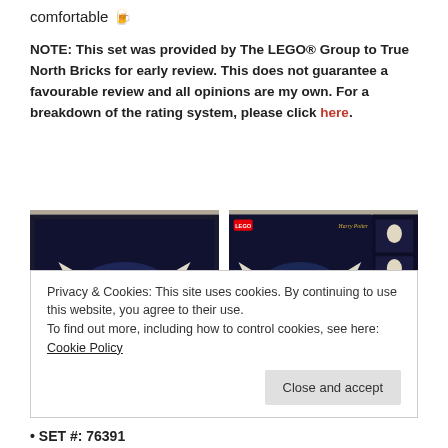comfortable 🍺
NOTE: This set was provided by The LEGO® Group to True North Bricks for early review. This does not guarantee a favourable review and all opinions are my own. For a breakdown of the rating system, please click here.
[Figure (photo): Left: LEGO Harry Potter Hedwig set box art showing Hedwig owl with wings spread over a stack of books and accessories, Harry Potter branding at bottom right.]
[Figure (photo): Right: LEGO Harry Potter Hedwig set box art front view showing Hedwig owl with wings spread, thumbnails of set contents on right side, Harry Potter branding.]
Privacy & Cookies: This site uses cookies. By continuing to use this website, you agree to their use.
To find out more, including how to control cookies, see here: Cookie Policy
Close and accept
SET #: 76391